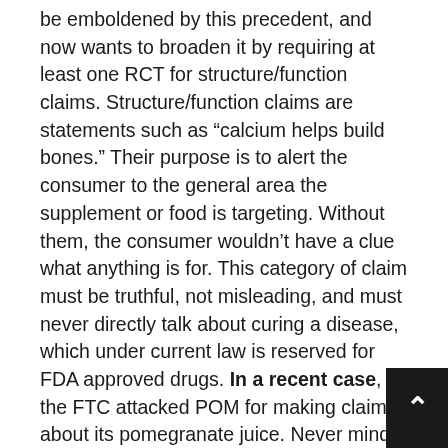be emboldened by this precedent, and now wants to broaden it by requiring at least one RCT for structure/function claims. Structure/function claims are statements such as “calcium helps build bones.” Their purpose is to alert the consumer to the general area the supplement or food is targeting. Without them, the consumer wouldn’t have a clue what anything is for. This category of claim must be truthful, not misleading, and must never directly talk about curing a disease, which under current law is reserved for FDA approved drugs. In a recent case, the FTC attacked POM for making claims about its pomegranate juice. Never mind that POM spent millions of dollars on peer-reviewed research that substantiated its claims. The charge was that